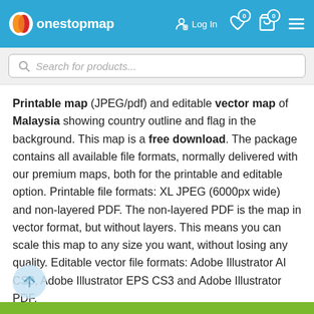onestopmap — Log In — Wishlist (0) — Cart (0) — Menu
Search for products...
Printable map (JPEG/pdf) and editable vector map of Malaysia showing country outline and flag in the background. This map is a free download. The package contains all available file formats, normally delivered with our premium maps, both for the printable and editable option. Printable file formats: XL JPEG (6000px wide) and non-layered PDF. The non-layered PDF is the map in vector format, but without layers. This means you can scale this map to any size you want, without losing any quality. Editable vector file formats: Adobe Illustrator AI CS3, Adobe Illustrator EPS CS3 and Adobe Illustrator PDF.